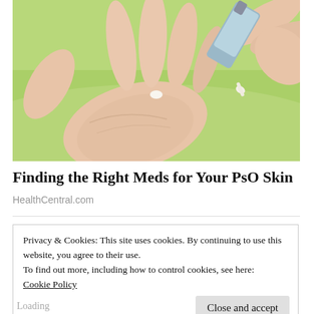[Figure (photo): Close-up photo of a hand with an open palm, while another hand squeezes cream from a tube onto the palm. Green background.]
Finding the Right Meds for Your PsO Skin
HealthCentral.com
Privacy & Cookies: This site uses cookies. By continuing to use this website, you agree to their use.
To find out more, including how to control cookies, see here:
Cookie Policy
Close and accept
Loading